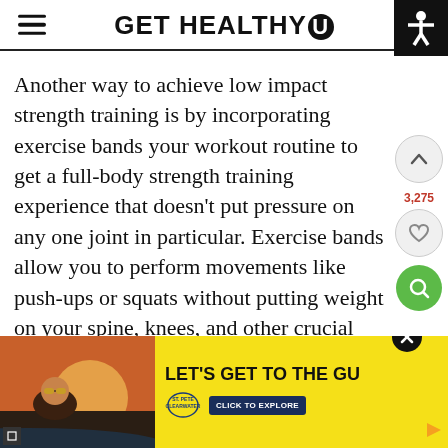GET HEALTHY U
Another way to achieve low impact strength training is by incorporating exercise bands your workout routine to get a full-body strength training experience that doesn't put pressure on any one joint in particular. Exercise bands allow you to perform movements like push-ups or squats without putting weight on your spine, knees, and other crucial joints. Research shows that exercise programs utilizing resistance bands and tubes produce equivalent results to free weight
[Figure (infographic): Advertisement banner for St. Pete Clearwater with photo of woman in sunglasses at sunset, yellow background, text LET'S GET TO THE GU, logo and CLICK TO EXPLORE button]